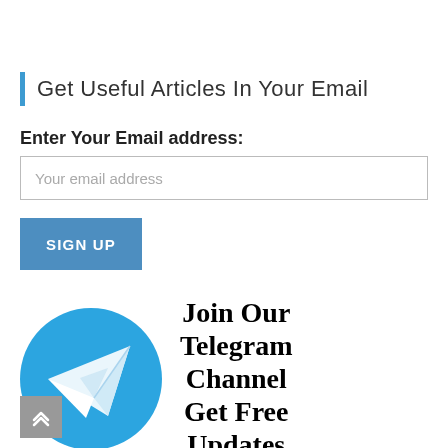Get Useful Articles In Your Email
Enter Your Email address:
Your email address
SIGN UP
[Figure (logo): Telegram logo circle with white paper plane icon]
Join Our Telegram Channel Get Free Updates